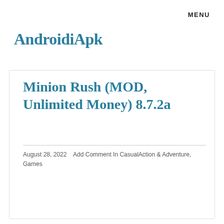MENU
AndroidiApk
Minion Rush (MOD, Unlimited Money) 8.7.2a
August 28, 2022    Add Comment In CasualAction & Adventure, Games